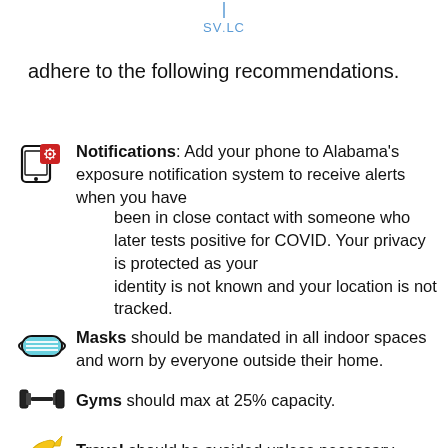SVLC
adhere to the following recommendations.
Notifications: Add your phone to Alabama's exposure notification system to receive alerts when you have been in close contact with someone who later tests positive for COVID. Your privacy is protected as your identity is not known and your location is not tracked.
Masks should be mandated in all indoor spaces and worn by everyone outside their home.
Gyms should max at 25% capacity.
Travel should be avoided unless necessary.